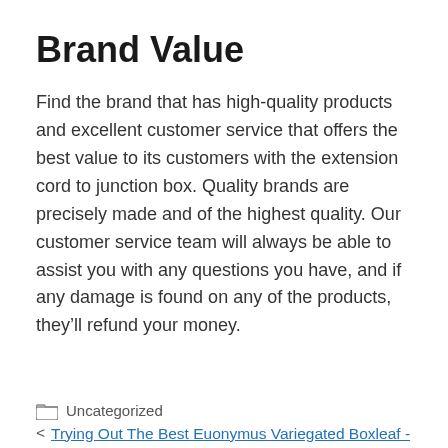Brand Value
Find the brand that has high-quality products and excellent customer service that offers the best value to its customers with the extension cord to junction box. Quality brands are precisely made and of the highest quality. Our customer service team will always be able to assist you with any questions you have, and if any damage is found on any of the products, they’ll refund your money.
Uncategorized
‹ Trying Out The Best Euonymus Variegated Boxleaf -For The Money